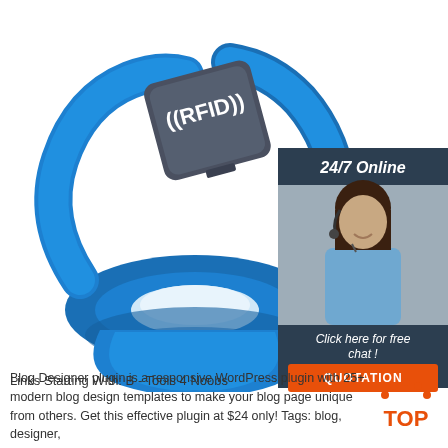[Figure (illustration): Blue RFID silicone wristband/ring with dark gray square RFID chip labeled '((RFID))' on top. The band is royal blue and curves around forming a ring shape. On the right side, a sidebar widget shows '24/7 Online' header, a photo of a smiling woman with headset, 'Click here for free chat!' text, and an orange 'QUOTATION' button.]
Links Starting With: B - Tools 4 Noobs
Blog Designer plugin is a responsive WordPress plugin with 25+ modern blog design templates to make your blog page unique from others. Get this effective plugin at $24 only! Tags: blog, designer,